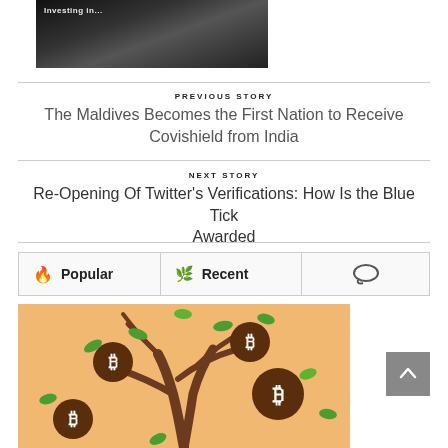[Figure (photo): Dark-themed image showing hands interacting with a digital screen, with text 'investing in...' visible at top]
PREVIOUS STORY
The Maldives Becomes the First Nation to Receive Covishield from India
NEXT STORY
Re-Opening Of Twitter's Verifications: How Is the Blue Tick Awarded
Popular | Recent | (comments icon)
[Figure (illustration): Illustration of a tree with branches holding Bitcoin coin medallions and green leaves on an orange/tan background]